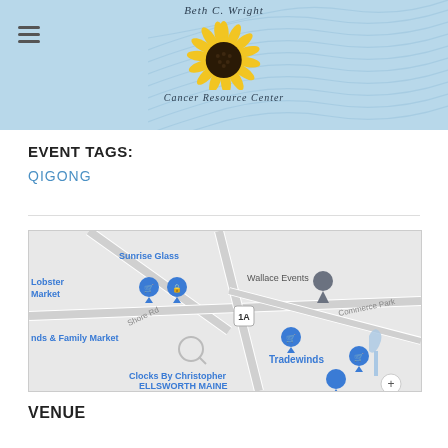[Figure (logo): Beth C. Wright Cancer Resource Center logo with sunflower image and curved wave background in light blue]
EVENT TAGS:
QIGONG
[Figure (map): Google Maps showing area with Sunrise Glass, Lobster Market, Wallace Events, Shore Rd, Route 1A, Commerce Park, nds & Family Market, Tradewinds, Clocks By Christopher ELLSWORTH MAINE, and various map pins]
VENUE